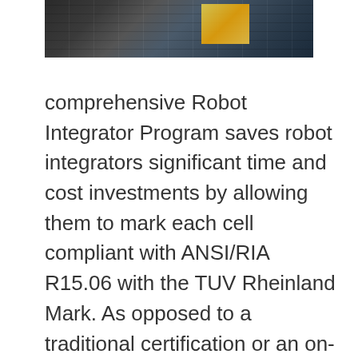[Figure (photo): Photo of industrial equipment, appears to show server racks or electronic hardware components in a warehouse or lab setting, with a yellow label visible on the right side.]
comprehensive Robot Integrator Program saves robot integrators significant time and cost investments by allowing them to mark each cell compliant with ANSI/RIA R15.06 with the TUV Rheinland Mark. As opposed to a traditional certification or an on-site field labeling, TÜV Rheinland's Robot Integrator Program certifies the knowledge and skill-set of robot integrators in addition to testing robotic cells and processes against ANSI/RIA R15.06. This reduces the need for frequent onsite or off site testing and allows manufacturers to apply a single TÜV Rheinland label to multiple cells. The Robot Integrator